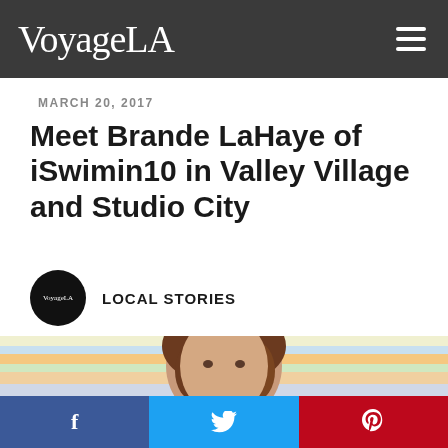VoyageLA
MARCH 20, 2017
Meet Brande LaHaye of iSwimin10 in Valley Village and Studio City
LOCAL STORIES
[Figure (photo): Woman with long brown hair near a colorful striped pool/wall background]
[Figure (infographic): Social sharing buttons: Facebook (blue), Twitter (light blue), Pinterest (red)]